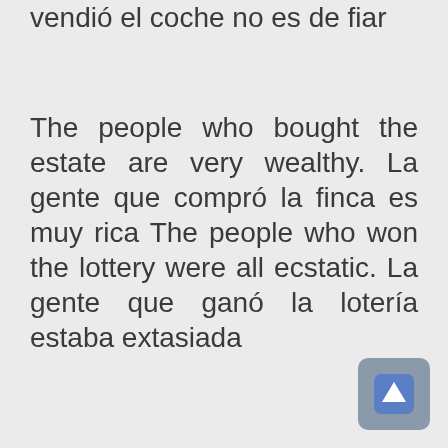vendió el coche no es de fiar
The people who bought the estate are very wealthy. La gente que compró la finca es muy rica The people who won the lottery were all ecstatic. La gente que ganó la lotería estaba extasiada